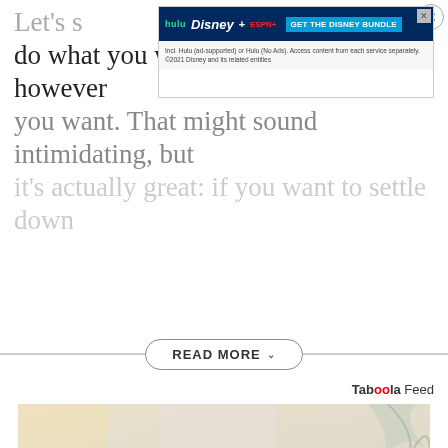Let's s single, can do what you want, when you want, however you want. That might sound intimidating, but it's actually great: if you want to settle down
[Figure (screenshot): Hulu Disney+ ESPN+ advertisement banner: GET THE DISNEY BUNDLE. Incl. Hulu (ad-supported) or Hulu (No Ads). Access content from each service separately. ©2021 Disney and its related entities]
READ MORE
Taboola Feed
[Figure (photo): A man and woman couple laughing together outdoors in sunlight, with tropical/architectural background]